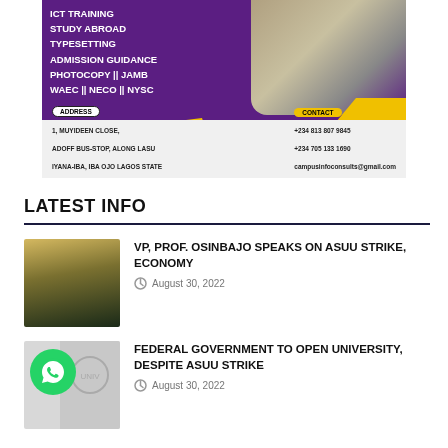[Figure (infographic): Campus Info Consults advertisement banner in purple and yellow, listing services: ICT TRAINING, STUDY ABROAD, TYPESETTING, ADMISSION GUIDANCE, PHOTOCOPY || JAMB, WAEC || NECO || NYSC. Address: 1, MUYIDEEN CLOSE, ADOFF BUS-STOP, ALONG LASU IYANA-IBA, IBA OJO LAGOS STATE. Contact: +234 813 807 9845, +234 705 133 1690, campusinfoconsults@gmail.com]
LATEST INFO
[Figure (photo): Thumbnail photo of VP Prof. Osinbajo speaking at a podium]
VP, PROF. OSINBAJO SPEAKS ON ASUU STRIKE, ECONOMY
August 30, 2022
[Figure (photo): Thumbnail with WhatsApp icon overlay and university seal/logo in background]
FEDERAL GOVERNMENT TO OPEN UNIVERSITY, DESPITE ASUU STRIKE
August 30, 2022